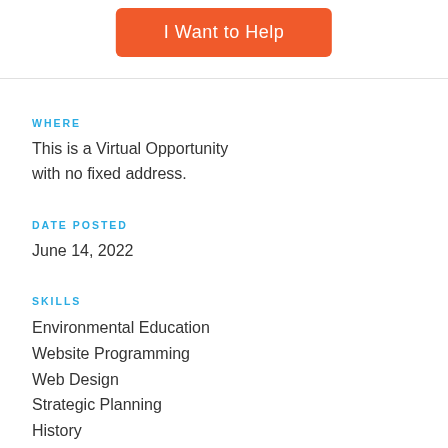I Want to Help
WHERE
This is a Virtual Opportunity with no fixed address.
DATE POSTED
June 14, 2022
SKILLS
Environmental Education
Website Programming
Web Design
Strategic Planning
History
Water Recreation